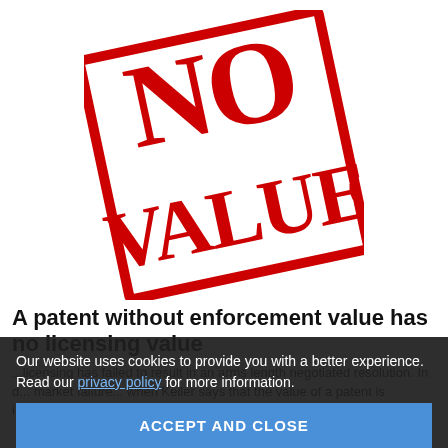[Figure (illustration): A red rubber stamp at an angle reading 'NO VALUE' in bold red serif text inside a red rectangular border on white background.]
A patent without enforcement value has no licensing value
...licensing has failed to result in an arms length negotiated resolution. In d... market failure... when Keller says that the value of a patent is inextricably tied to the value obtainable through litigation that is
Our website uses cookies to provide you with a better experience. Read our privacy policy for more information.
ACCEPT AND CLOSE